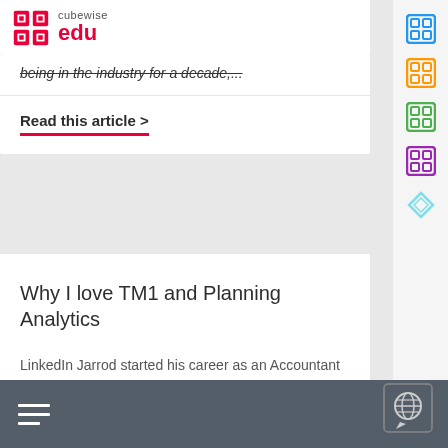cubewise edu
being in the industry for a decade,...
Read this article >
Why I love TM1 and Planning Analytics
LinkedIn Jarrod started his career as an Accountant who used VBA programming in Excel to improve and automate processes... that was